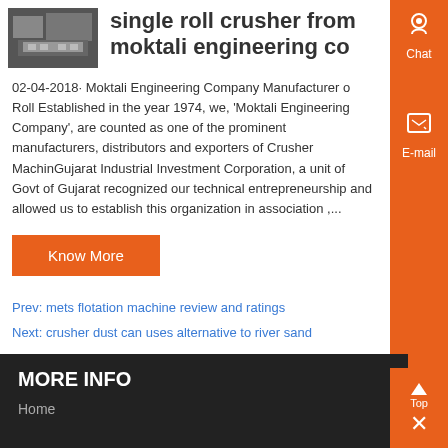[Figure (photo): Thumbnail image of a single roll crusher machine]
single roll crusher from moktali engineering co
02-04-2018· Moktali Engineering Company Manufacturer of Roll Established in the year 1974, we, 'Moktali Engineering Company', are counted as one of the prominent manufacturers, distributors and exporters of Crusher MachinGujarat Industrial Investment Corporation, a unit of Govt of Gujarat recognized our technical entrepreneurship and allowed us to establish this organization in association ,...
Know More
Prev: mets flotation machine review and ratings
Next: crusher dust can uses alternative to river sand
MORE INFO
Home